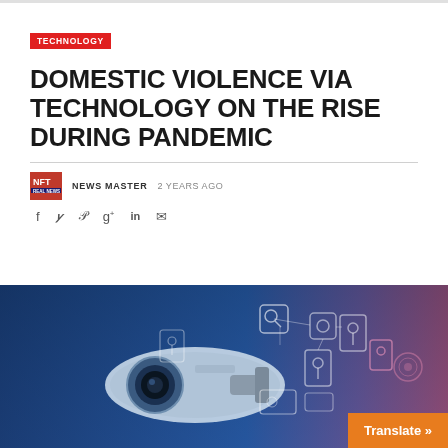TECHNOLOGY
DOMESTIC VIOLENCE VIA TECHNOLOGY ON THE RISE DURING PANDEMIC
NEWS MASTER   2 YEARS AGO
[Figure (photo): Security surveillance camera with digital technology network connectivity icons overlay on blue and pink gradient background]
Translate »